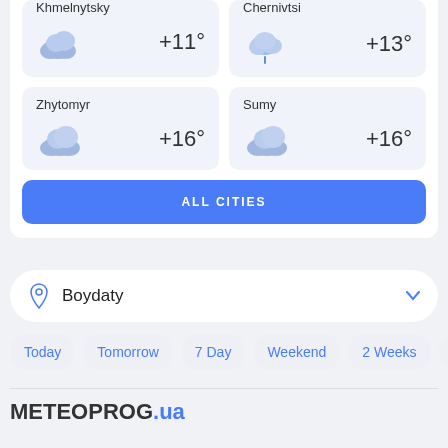Khmelnytsky +11°
Chernivtsi +13°
Zhytomyr +16°
Sumy +16°
ALL CITIES
Boydaty
Today
Tomorrow
7 Day
Weekend
2 Weeks
M
METEOPROG.ua